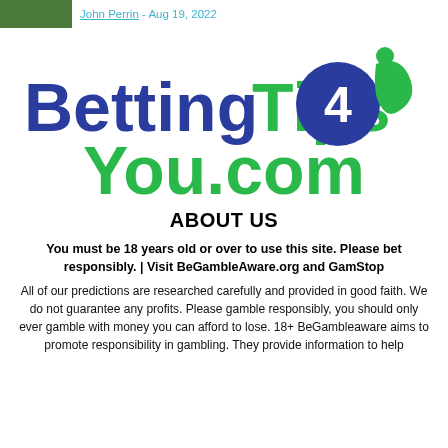John Perrin - Aug 19, 2022
[Figure (logo): BettingTips4You.com logo with blue and green text and a soccer player icon inside a blue circle]
ABOUT US
You must be 18 years old or over to use this site. Please bet responsibly. | Visit BeGambleAware.org and GamStop
All of our predictions are researched carefully and provided in good faith. We do not guarantee any profits. Please gamble responsibly, you should only ever gamble with money you can afford to lose. 18+ BeGambleaware aims to promote responsibility in gambling. They provide information to help